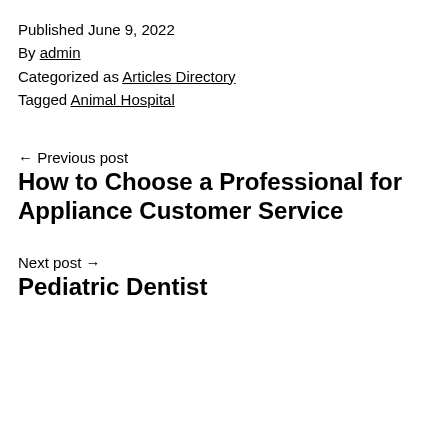Published June 9, 2022
By admin
Categorized as Articles Directory
Tagged Animal Hospital
← Previous post
How to Choose a Professional for Appliance Customer Service
Next post →
Pediatric Dentist